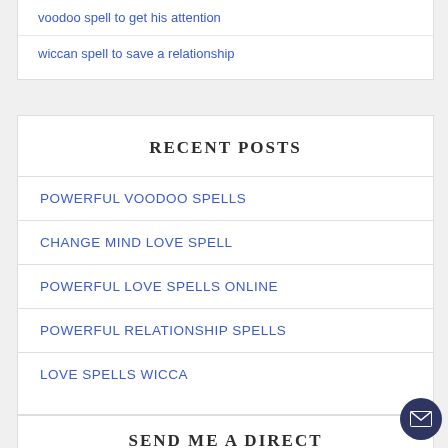voodoo spell to get his attention
wiccan spell to save a relationship
RECENT POSTS
POWERFUL VOODOO SPELLS
CHANGE MIND LOVE SPELL
POWERFUL LOVE SPELLS ONLINE
POWERFUL RELATIONSHIP SPELLS
LOVE SPELLS WICCA
SEND ME A DIRECT